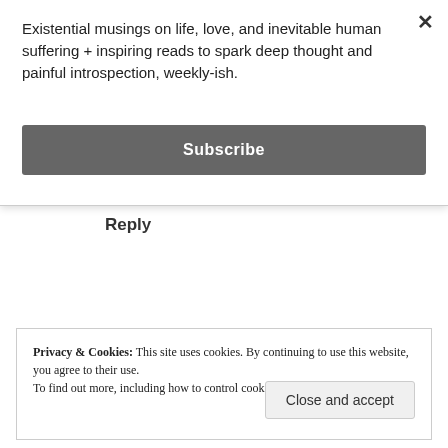Existential musings on life, love, and inevitable human suffering + inspiring reads to spark deep thought and painful introspection, weekly-ish.
Subscribe
Reply
REPORT THIS AD
Privacy & Cookies: This site uses cookies. By continuing to use this website, you agree to their use.
To find out more, including how to control cookies, see here: Cookie Policy
Close and accept